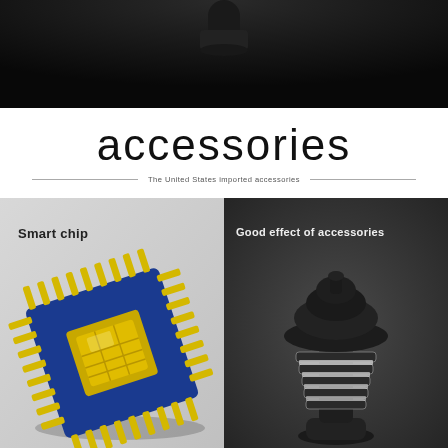[Figure (photo): Dark product photo on black background showing a device or accessory from above]
accessories
The United States imported accessories
[Figure (photo): Left panel: Smart chip - photo of a blue CPU chip with gold pins and gold center chip on grey background]
[Figure (photo): Right panel: Good effect of accessories - photo of a black mosquito killer lamp device on dark background]